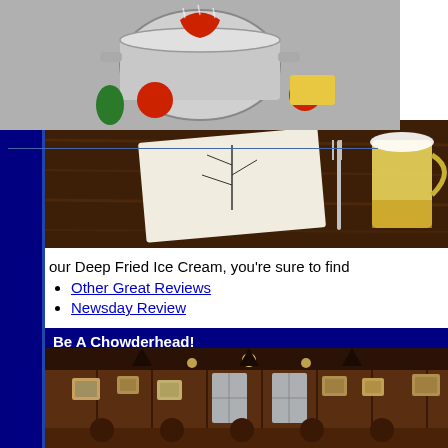[Figure (photo): Photo of a cooking pot with vegetables and food items including tomatoes, peppers, cheese on the left column]
Catering Menu
Chowder Bar History
Restaurant Photos
[Figure (photo): Photo of a restaurant table with menu/paper and a beer mug]
our Deep Fried Ice Cream, you’re sure to find
Other Great Reviews
Newsday Review
Be A Chowderhead!
[Figure (photo): Photo of restaurant interior showing wooden walls with framed pictures and chandelier lighting]